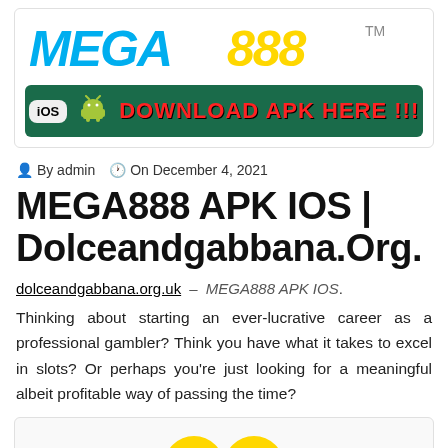[Figure (screenshot): MEGA888 logo banner with 'DOWNLOAD APK HERE!!!' button on green background with iOS and Android icons]
By admin  On December 4, 2021
MEGA888 APK IOS | Dolceandgabbana.Org.
dolceandgabbana.org.uk – MEGA888 APK IOS. Thinking about starting an ever-lucrative career as a professional gambler? Think you have what it takes to excel in slots? Or perhaps you're just looking for a meaningful albeit profitable way of passing the time?
[Figure (screenshot): Bottom banner partially visible showing MEGA888 branding]